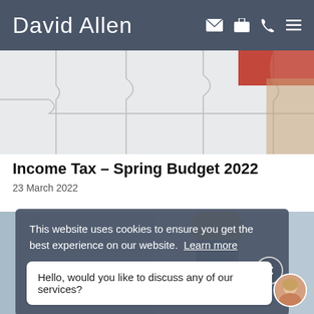David Allen
[Figure (photo): Puzzle pieces photo with a red piece visible in top right area, white/grey puzzle on beige background]
Income Tax – Spring Budget 2022
23 March 2022
[Figure (photo): Photo of a blonde woman at a desk in an office environment]
This website uses cookies to ensure you get the best experience on our website. Learn more
Hello, would you like to discuss any of our services?